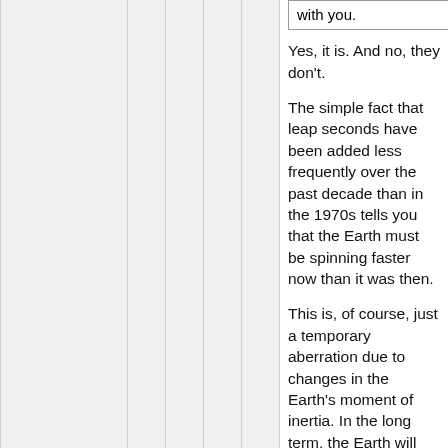with you.
Yes, it is. And no, they don't.
The simple fact that leap seconds have been added less frequently over the past decade than in the 1970s tells you that the Earth must be spinning faster now than it was then.
This is, of course, just a temporary aberration due to changes in the Earth's moment of inertia. In the long term, the Earth will continue its gradual slowing trend as angular momentum is transferred to the moon through tidal effects. In the future, ever-increasing numbers of leap seconds will be